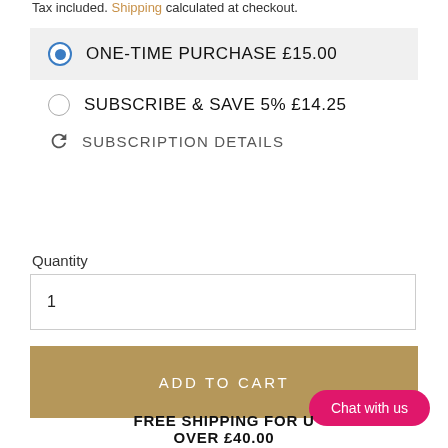Tax included. Shipping calculated at checkout.
ONE-TIME PURCHASE £15.00
SUBSCRIBE & SAVE 5% £14.25
SUBSCRIPTION DETAILS
Quantity
1
ADD TO CART
Chat with us
FREE SHIPPING FOR U... OVER £40.00